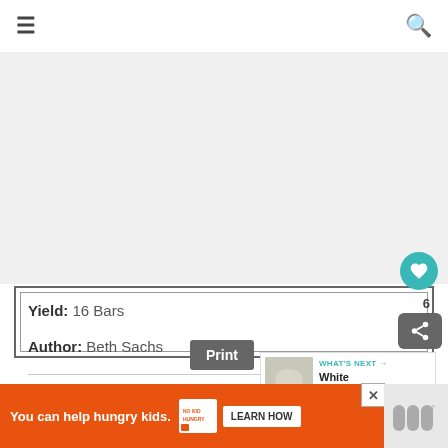≡  [search icon]
[Figure (photo): Gray placeholder image area for a recipe photo]
Yield: 16 Bars
Author: Beth Sachs
Print
6
[Figure (infographic): WHAT'S NEXT → White Chocolate... with thumbnail image]
[Figure (infographic): Advertisement banner: You can help hungry kids. NO KID HUNGRY LEARN HOW]